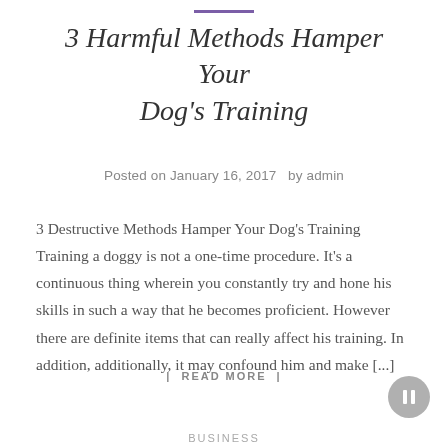3 Harmful Methods Hamper Your Dog's Training
Posted on January 16, 2017  by admin
3 Destructive Methods Hamper Your Dog's Training Training a doggy is not a one-time procedure. It's a continuous thing wherein you constantly try and hone his skills in such a way that he becomes proficient. However there are definite items that can really affect his training. In addition, additionally, it may confound him and make [...]
| READ MORE |
BUSINESS